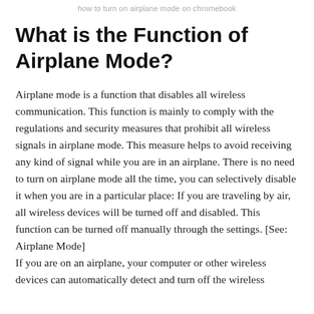how to turn on airplane mode on chromebook
What is the Function of Airplane Mode?
Airplane mode is a function that disables all wireless communication. This function is mainly to comply with the regulations and security measures that prohibit all wireless signals in airplane mode. This measure helps to avoid receiving any kind of signal while you are in an airplane. There is no need to turn on airplane mode all the time, you can selectively disable it when you are in a particular place: If you are traveling by air, all wireless devices will be turned off and disabled. This function can be turned off manually through the settings. [See: Airplane Mode] If you are on an airplane, your computer or other wireless devices can automatically detect and turn off the wireless